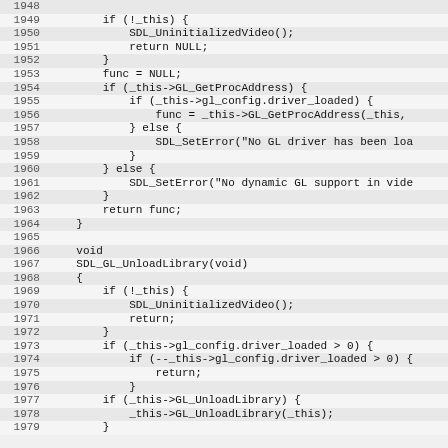[Figure (screenshot): Source code listing in C showing lines 1948-1979 of SDL video/GL library code, with alternating row highlighting and line numbers]
1948
1949     if (!_this) {
1950         SDL_UninitializedVideo();
1951         return NULL;
1952     }
1953     func = NULL;
1954     if (_this->GL_GetProcAddress) {
1955         if (_this->gl_config.driver_loaded) {
1956             func = _this->GL_GetProcAddress(_this,
1957         } else {
1958             SDL_SetError("No GL driver has been loa
1959         }
1960     } else {
1961         SDL_SetError("No dynamic GL support in vide
1962     }
1963     return func;
1964 }
1965
1966 void
1967 SDL_GL_UnloadLibrary(void)
1968 {
1969     if (!_this) {
1970         SDL_UninitializedVideo();
1971         return;
1972     }
1973     if (_this->gl_config.driver_loaded > 0) {
1974         if (--_this->gl_config.driver_loaded > 0) {
1975             return;
1976         }
1977     if (_this->GL_UnloadLibrary) {
1978         _this->GL_UnloadLibrary(_this);
1979     }